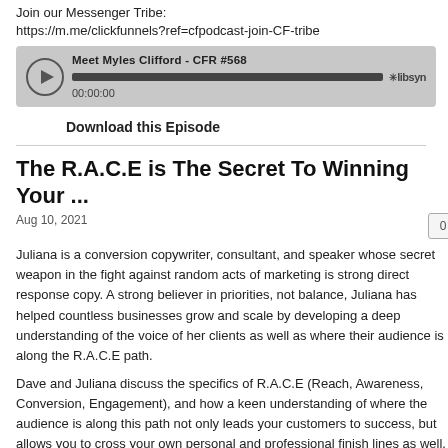Join our Messenger Tribe:
https://m.me/clickfunnels?ref=cfpodcast-join-CF-tribe
[Figure (other): Audio player widget showing 'Meet Myles Clifford - CFR #568' with play button, progress bar at full, timestamp 00:00:00, and libsyn logo]
Download this Episode
The R.A.C.E is The Secret To Winning Your ...
Aug 10, 2021
Juliana is a conversion copywriter, consultant, and speaker whose secret weapon in the fight against random acts of marketing is strong direct response copy. A strong believer in priorities, not balance, Juliana has helped countless businesses grow and scale by developing a deep understanding of the voice of her clients as well as where their audience is along the R.A.C.E path.
Dave and Juliana discuss the specifics of R.A.C.E (Reach, Awareness, Conversion, Engagement), and how a keen understanding of where the audience is along this path not only leads your customers to success, but allows you to cross your own personal and professional finish lines as well. Defining those finish lines for yourself from the start, Juliana emphasizes, is absolutely essential.
Site: ellisancd.com